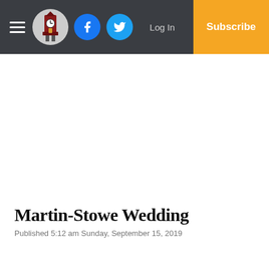Martin-Stowe Wedding — newspaper website header with hamburger menu, logo, Facebook and Twitter social icons, Log In link, and Subscribe button
Martin-Stowe Wedding
Published 5:12 am Sunday, September 15, 2019